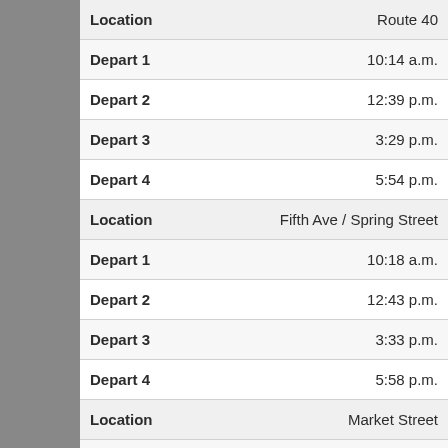| Field | Value |
| --- | --- |
| Location | Route 40 |
| Depart 1 | 10:14 a.m. |
| Depart 2 | 12:39 p.m. |
| Depart 3 | 3:29 p.m. |
| Depart 4 | 5:54 p.m. |
| Location | Fifth Ave / Spring Street |
| Depart 1 | 10:18 a.m. |
| Depart 2 | 12:43 p.m. |
| Depart 3 | 3:33 p.m. |
| Depart 4 | 5:58 p.m. |
| Location | Market Street |
| Depart 1 | 10:20 a.m. |
| Depart 2 | 12:45 p.m. |